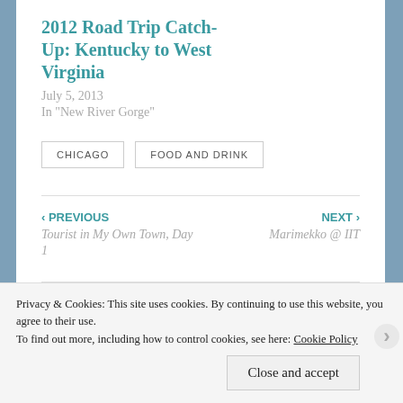2012 Road Trip Catch-Up: Kentucky to West Virginia
July 5, 2013
In "New River Gorge"
CHICAGO
FOOD AND DRINK
‹ PREVIOUS
Tourist in My Own Town, Day 1
NEXT ›
Marimekko @ IIT
Privacy & Cookies: This site uses cookies. By continuing to use this website, you agree to their use.
To find out more, including how to control cookies, see here: Cookie Policy
Close and accept